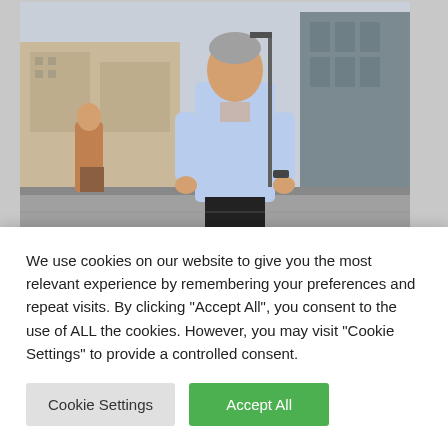[Figure (photo): A middle-aged man in a light blue button-down shirt standing outdoors on an urban street with buildings in the background. Another person is visible in the background to the left.]
Catch of the Day – Futuristic
We use cookies on our website to give you the most relevant experience by remembering your preferences and repeat visits. By clicking "Accept All", you consent to the use of ALL the cookies. However, you may visit "Cookie Settings" to provide a controlled consent.